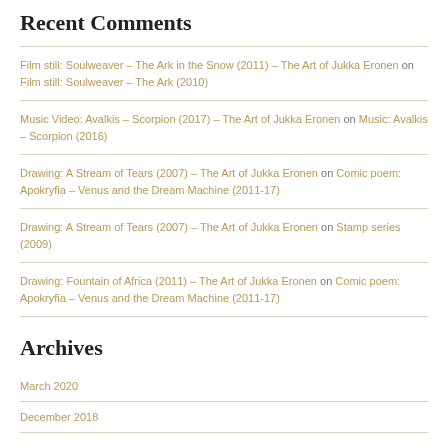Recent Comments
Film still: Soulweaver – The Ark in the Snow (2011) – The Art of Jukka Eronen on Film still: Soulweaver – The Ark (2010)
Music Video: Avalkis – Scorpion (2017) – The Art of Jukka Eronen on Music: Avalkis – Scorpion (2016)
Drawing: A Stream of Tears (2007) – The Art of Jukka Eronen on Comic poem: Apokryfia – Venus and the Dream Machine (2011-17)
Drawing: A Stream of Tears (2007) – The Art of Jukka Eronen on Stamp series (2009)
Drawing: Fountain of Africa (2011) – The Art of Jukka Eronen on Comic poem: Apokryfia – Venus and the Dream Machine (2011-17)
Archives
March 2020
December 2018